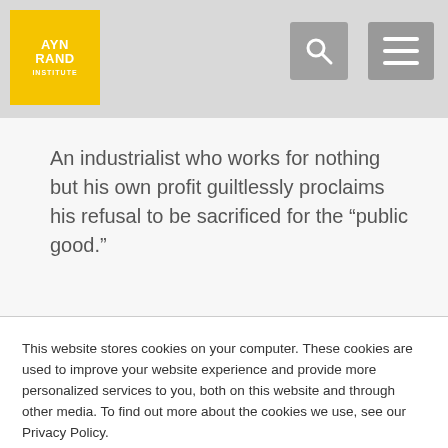AYN RAND INSTITUTE
An industrialist who works for nothing but his own profit guiltlessly proclaims his refusal to be sacrificed for the “public good.”
View Article ▸
This website stores cookies on your computer. These cookies are used to improve your website experience and provide more personalized services to you, both on this website and through other media. To find out more about the cookies we use, see our Privacy Policy.
We won’t track your information when you visit our site. But in order to comply with your preferences, we’ll have to use just one tiny cookie so that you’re not asked to make this choice again.
Accept
Decline